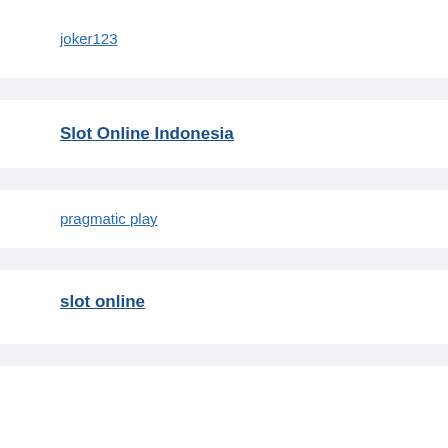joker123
Slot Online Indonesia
pragmatic play
slot online